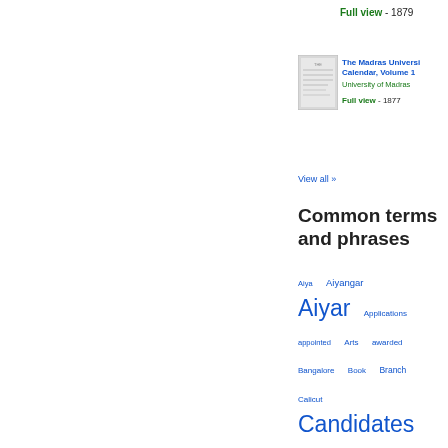Full view - 1879
[Figure (illustration): Small thumbnail of a book cover for The Madras University Calendar, Volume 1]
The Madras University Calendar, Volume 1
University of Madras
Full view - 1877
View all »
Common terms and phrases
Aiya  Aiyangar  Aiyar  Applications  appointed  Arts  awarded  Bangalore  Book  Branch  Calicut  Candidates  Chancellor  Chetti  Civil  Class  contained  difference  Educated